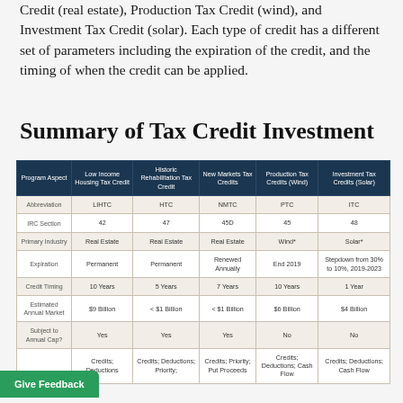Credit (real estate), Production Tax Credit (wind), and Investment Tax Credit (solar). Each type of credit has a different set of parameters including the expiration of the credit, and the timing of when the credit can be applied.
Summary of Tax Credit Investment
| Program Aspect | Low Income Housing Tax Credit | Historic Rehabilitation Tax Credit | New Markets Tax Credits | Production Tax Credits (Wind) | Investment Tax Credits (Solar) |
| --- | --- | --- | --- | --- | --- |
| Abbreviation | LIHTC | HTC | NMTC | PTC | ITC |
| IRC Section | 42 | 47 | 45D | 45 | 48 |
| Primary Industry | Real Estate | Real Estate | Real Estate | Wind* | Solar* |
| Expiration | Permanent | Permanent | Renewed Annually | End 2019 | Stepdown from 30% to 10%, 2019-2023 |
| Credit Timing | 10 Years | 5 Years | 7 Years | 10 Years | 1 Year |
| Estimated Annual Market | $9 Billion | < $1 Billion | < $1 Billion | $6 Billion | $4 Billion |
| Subject to Annual Cap? | Yes | Yes | Yes | No | No |
|  | Credits; Deductions | Credits; Deductions; Priority; | Credits; Priority; Put Proceeds | Credits; Deductions; Cash Flow | Credits; Deductions; Cash Flow |
Give Feedback